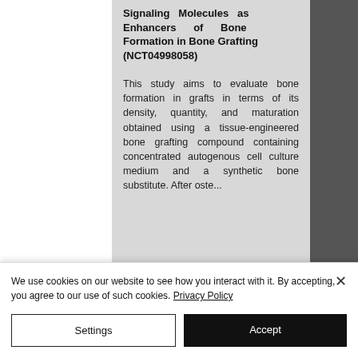Signaling Molecules as Enhancers of Bone Formation in Bone Grafting (NCT04998058)
This study aims to evaluate bone formation in grafts in terms of its density, quantity, and maturation obtained using a tissue-engineered bone grafting compound containing concentrated autogenous cell culture medium and a synthetic bone substitute. After osteotomol...
We use cookies on our website to see how you interact with it. By accepting, you agree to our use of such cookies. Privacy Policy
Settings
Accept